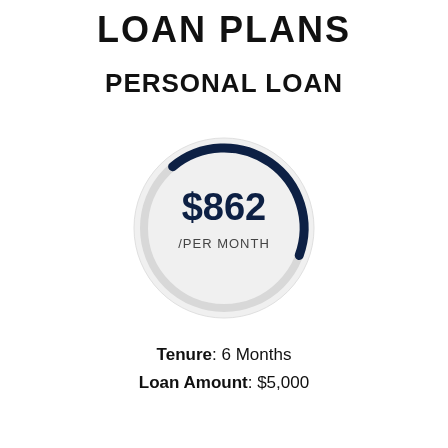LOAN PLANS
PERSONAL LOAN
[Figure (donut-chart): Partial arc gauge showing monthly payment amount of $862 per month. Dark navy arc covering approximately 30% of the circle circumference at the top-right portion. Large light gray circle background with $862 /PER MONTH text in center.]
Tenure: 6 Months
Loan Amount: $5,000